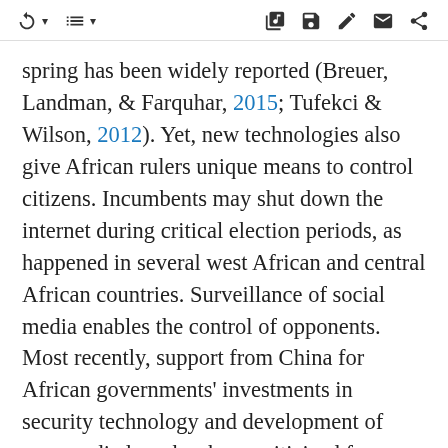Toolbar with navigation and action icons
spring has been widely reported (Breuer, Landman, & Farquhar, 2015; Tufekci & Wilson, 2012). Yet, new technologies also give African rulers unique means to control citizens. Incumbents may shut down the internet during critical election periods, as happened in several west African and central African countries. Surveillance of social media enables the control of opponents. Most recently, support from China for African governments' investments in security technology and development of new media laws has been criticized for opening unprecedented opportunities for scrutinizing regime critics (Hawkins, 2018).
The interaction between demographic change, urbanization, and digitalization; its relationship